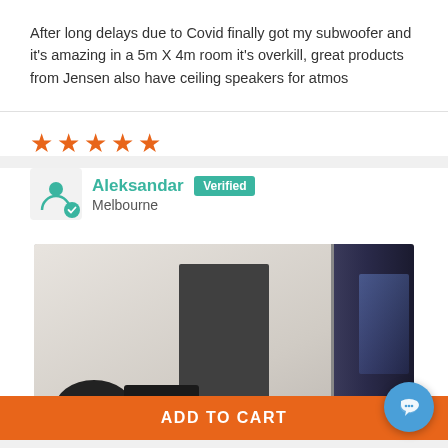After long delays due to Covid finally got my subwoofer and it's amazing in a 5m X 4m room it's overkill, great products from Jensen also have ceiling speakers for atmos
[Figure (other): Five orange star rating icons]
Aleksandar Verified Melbourne
[Figure (photo): Photo of a home theater setup showing a tall dark floor-standing speaker in the center, a TV or large screen on the right, and a subwoofer on the floor on the left, in a white-walled room.]
ADD TO CART